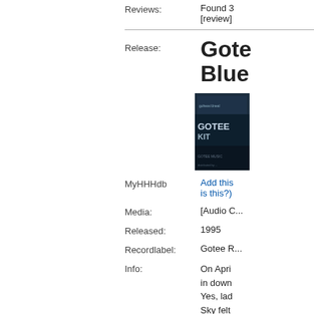Reviews: Found 3 [review]
Release: Gotee Blue
[Figure (photo): Album cover thumbnail for Gotee Blue, dark blue/teal color with text]
MyHHHdb: Add this ... is this?)
Media: [Audio C...
Released: 1995
Recordlabel: Gotee R...
Info: On April... in down... Yes, lad... Sky felt... was a G... perform... Christaf... special ... this albu... forgotte...
1. Intro...